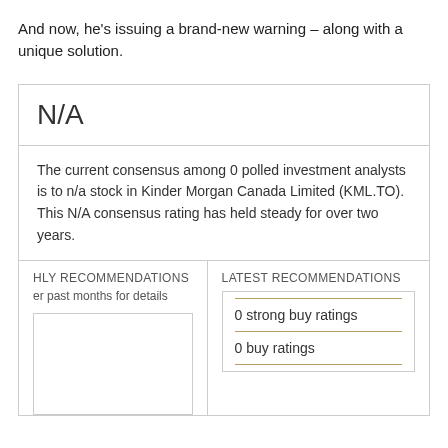And now, he's issuing a brand-new warning – along with a unique solution.
N/A
The current consensus among 0 polled investment analysts is to n/a stock in Kinder Morgan Canada Limited (KML.TO). This N/A consensus rating has held steady for over two years.
HLY RECOMMENDATIONS
er past months for details
LATEST RECOMMENDATIONS
0 strong buy ratings
0 buy ratings